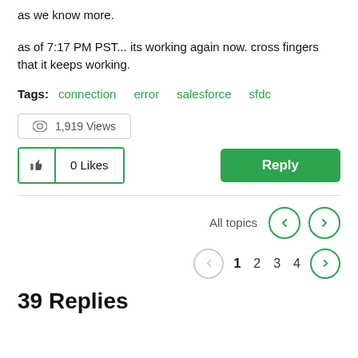as we know more.
as of 7:17 PM PST... its working again now. cross fingers that it keeps working.
Tags: connection  error  salesforce  sfdc
👁 1,919 Views
0 Likes  Reply
All topics  ❮  ❯
1 2 3 4
39 Replies